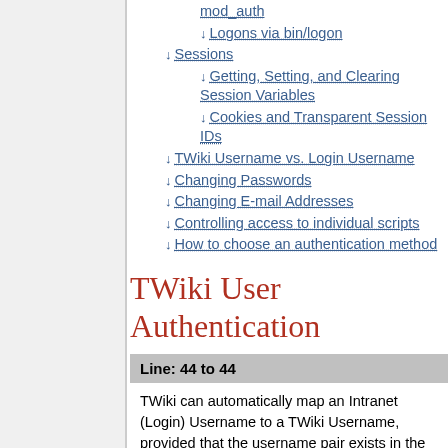mod_auth
↓ Logons via bin/logon
↓ Sessions
↓ Getting, Setting, and Clearing Session Variables
↓ Cookies and Transparent Session IDs
↓ TWiki Username vs. Login Username
↓ Changing Passwords
↓ Changing E-mail Addresses
↓ Controlling access to individual scripts
↓ How to choose an authentication method
TWiki User Authentication
Line: 44 to 44
TWiki can automatically map an Intranet (Login) Username to a TWiki Username, provided that the username pair exists in the TWikiUsers topic. This is also handled automatically when you register.
Changed:
In the original TWiki distribution, in